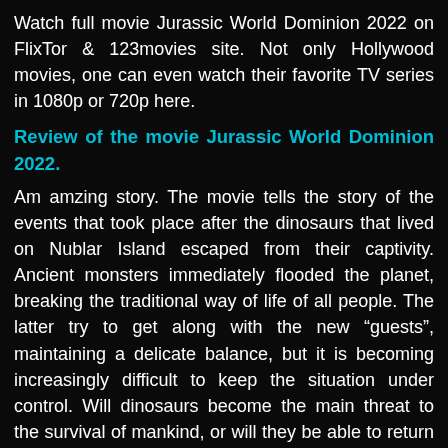Watch full movie Jurassic World Dominion 2022 on FlixTor & 123movies site. Not only Hollywood movies, one can even watch their favorite TV series in 1080p or 720p here.
Review of the movie Jurassic World Dominion 2022.
Am amzing story. The movie tells the story of the events that took place after the dinosaurs that lived on Nublar Island escaped from their captivity. Ancient monsters immediately flooded the planet, breaking the traditional way of life of all people. The latter try to get along with the new “guests”, maintaining a delicate balance, but it is becoming increasingly difficult to keep the situation under control. Will dinosaurs become the main threat to the survival of mankind, or will they be able to return to a safe environment for people?